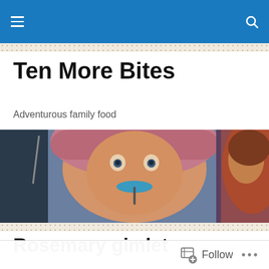Navigation bar with hamburger menu and search icon
Ten More Bites
Adventurous family food
[Figure (photo): Close-up photo of a young child with a blue painted moustache on their face, wearing a pink hood, looking wide-eyed at the camera]
Rosemary gimlet
[Figure (photo): Partial photo showing a bottle of Gordon's gin and a glass, suggesting a cocktail setup]
Follow  ...